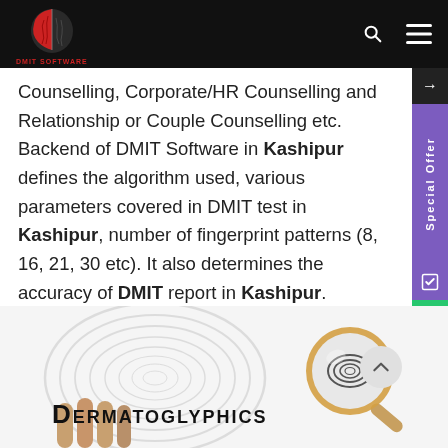DMIT SOFTWARE
Counselling, Corporate/HR Counselling and Relationship or Couple Counselling etc. Backend of DMIT Software in Kashipur defines the algorithm used, various parameters covered in DMIT test in Kashipur, number of fingerprint patterns (8, 16, 21, 30 etc). It also determines the accuracy of DMIT report in Kashipur. Accordingly, backend calculations are literally the backbone of DMIT Software in Kashipur.
[Figure (illustration): Fingerprint spiral background pattern with the word DERMATOGLYPHICS in bold black serif/small-caps, and a magnifying glass examining a fingerprint on the right side.]